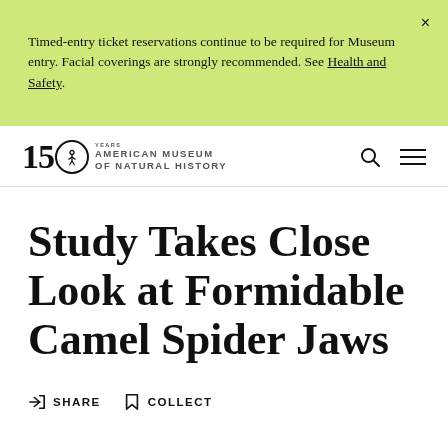Timed-entry ticket reservations continue to be required for Museum entry. Facial coverings are strongly recommended. See Health and Safety.
[Figure (logo): 150 Years American Museum of Natural History logo with circular emblem]
Study Takes Close Look at Formidable Camel Spider Jaws
SHARE   COLLECT